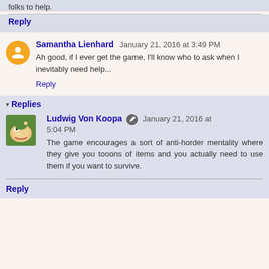folks to help.
Reply
Samantha Lienhard  January 21, 2016 at 3:49 PM
Ah good, if I ever get the game, I'll know who to ask when I inevitably need help...
Reply
Replies
Ludwig Von Koopa  January 21, 2016 at 5:04 PM
The game encourages a sort of anti-horder mentality where they give you tooons of items and you actually need to use them if you want to survive.
Reply